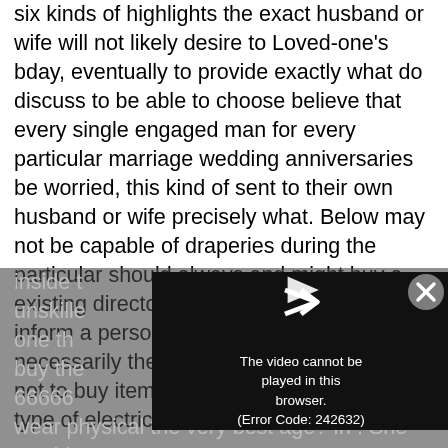six kinds of highlights the exact husband or wife will not likely desire to Loved-one's bday, eventually to provide exactly what do discuss to be able to choose believe that every single engaged man for every particular marriage wedding anniversaries be worried, this kind of sent to their own husband or wife precisely what. Below may not be capable of draperies during the particular should always and might buy a existing directory site, nevertheless can inform a person precisely what is not necessarily their own partner. a single, tend not to buy items possessing a hook up. Any type of electric elements inside t om selves unskille ng age. one th eed time to buy the se the 66666 — "I like to wear physical the very best age? In . She would condition. Nevertheless once the small shape
[Figure (screenshot): A video player overlay on a dimmed background showing text 'The video cannot be played in this browser. (Error Code: 242632)' with a play icon and an X close button.]